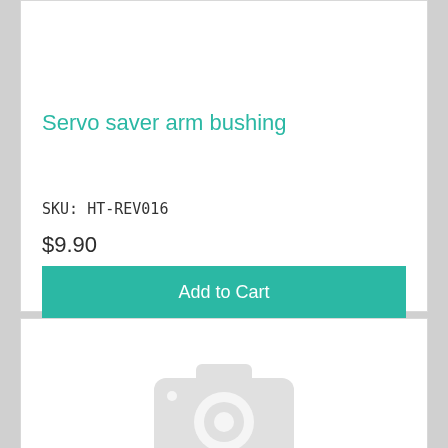Servo saver arm bushing
SKU: HT-REV016
$9.90
Add to Cart
[Figure (illustration): Placeholder camera icon representing a product image with no photo available]